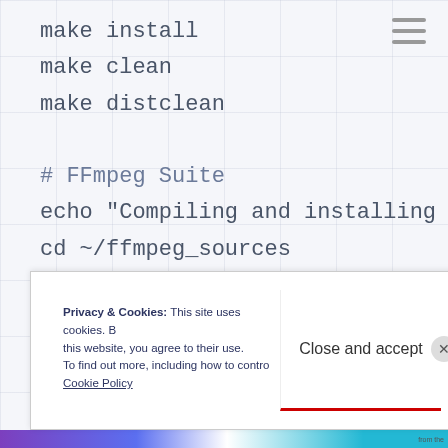make install
make clean
make distclean
# FFmpeg Suite
echo "Compiling and installing the FFmpeg Suite"
cd ~/ffmpeg_sources
wget http://ffmpeg.org/releases/ffmpeg-snapsho
tar xjvf ffmpeg-snapshot.tar.bz2
Privacy & Cookies: This site uses cookies. By continuing to use this website, you agree to their use. To find out more, including how to control cookies, see here: Cookie Policy   Close and accept